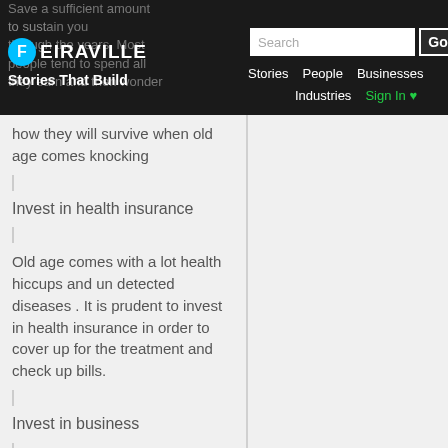FEIRAVILLE | Stories That Build | Stories | People | Businesses | Industries | Sign In
Save a sufficient amount to sustain you through the years. Most people tend to spend all they earn and then wonder how they will survive when old age comes knocking
Invest in health insurance
Old age comes with a lot health hiccups and un detected diseases . It is prudent to invest in health insurance in order to cover up for the treatment and check up bills.
Invest in business
Wise people invest in several projects that will be able to bring in cash. In